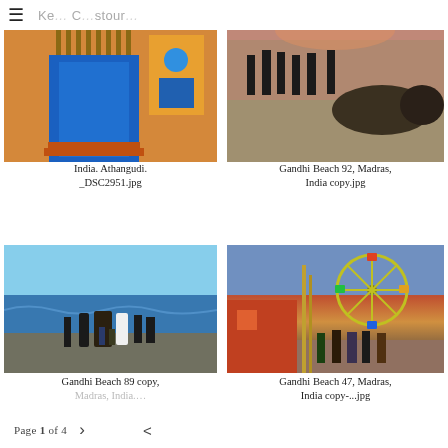≡  Ke… C…stour…
[Figure (photo): India. Athangudi. Colorful building facade with blue door and signage. _DSC2951.jpg]
India. Athangudi.
_DSC2951.jpg
[Figure (photo): Gandhi Beach 92, Madras, India. People gathered on beach at dusk. copy.jpg]
Gandhi Beach 92, Madras,
India copy.jpg
[Figure (photo): Gandhi Beach 89 copy, Madras, India. Women and children at the ocean shore.]
Gandhi Beach 89 copy,
Madras, India.…
[Figure (photo): Gandhi Beach 47, Madras, India. Ferris wheel and carnival scene on the beach. copy-….jpg]
Gandhi Beach 47, Madras,
India copy-...jpg
Page 1 of 4  >  <